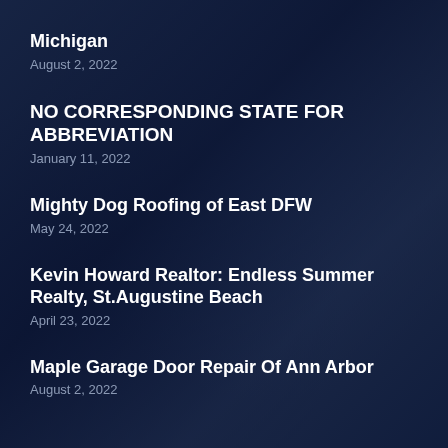Michigan
August 2, 2022
NO CORRESPONDING STATE FOR ABBREVIATION
January 11, 2022
Mighty Dog Roofing of East DFW
May 24, 2022
Kevin Howard Realtor: Endless Summer Realty, St.Augustine Beach
April 23, 2022
Maple Garage Door Repair Of Ann Arbor
August 2, 2022